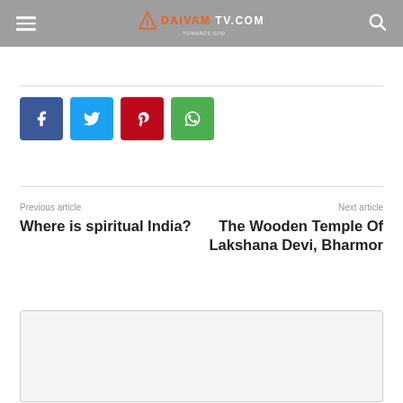DAIVAM TV.COM
[Figure (other): Social sharing buttons: Facebook (blue), Twitter (cyan), Pinterest (red), WhatsApp (green)]
Previous article
Where is spiritual India?
Next article
The Wooden Temple Of Lakshana Devi, Bharmor
[Figure (other): Empty comment/content box area]